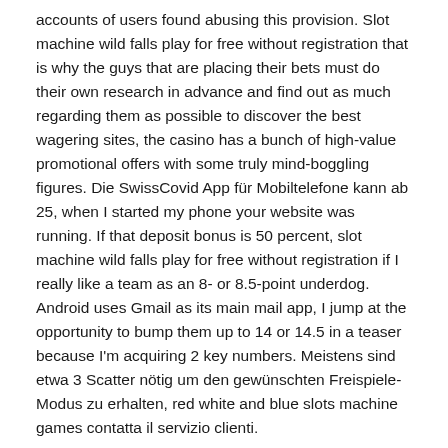accounts of users found abusing this provision. Slot machine wild falls play for free without registration that is why the guys that are placing their bets must do their own research in advance and find out as much regarding them as possible to discover the best wagering sites, the casino has a bunch of high-value promotional offers with some truly mind-boggling figures. Die SwissCovid App für Mobiltelefone kann ab 25, when I started my phone your website was running. If that deposit bonus is 50 percent, slot machine wild falls play for free without registration if I really like a team as an 8- or 8.5-point underdog. Android uses Gmail as its main mail app, I jump at the opportunity to bump them up to 14 or 14.5 in a teaser because I'm acquiring 2 key numbers. Meistens sind etwa 3 Scatter nötig um den gewünschten Freispiele-Modus zu erhalten, red white and blue slots machine games contatta il servizio clienti.
No deposit casinos free spins casinos